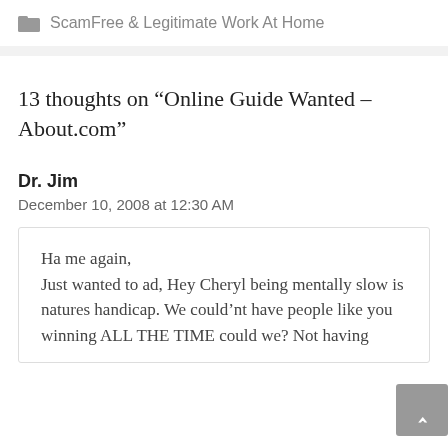ScamFree & Legitimate Work At Home
13 thoughts on “Online Guide Wanted – About.com”
Dr. Jim
December 10, 2008 at 12:30 AM
Ha me again,
Just wanted to ad, Hey Cheryl being mentally slow is natures handicap. We could’nt have people like you winning ALL THE TIME could we? Not having